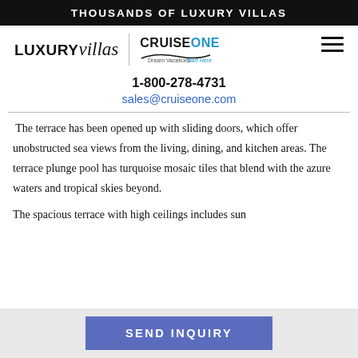THOUSANDS OF LUXURY VILLAS
[Figure (logo): LUXURYvillas logo with CruiseOne Dream Vacations Start Here logo and hamburger menu icon]
1-800-278-4731
sales@cruiseone.com
The terrace has been opened up with sliding doors, which offer unobstructed sea views from the living, dining, and kitchen areas. The terrace plunge pool has turquoise mosaic tiles that blend with the azure waters and tropical skies beyond.
The spacious terrace with high ceilings includes sun
SEND INQUIRY